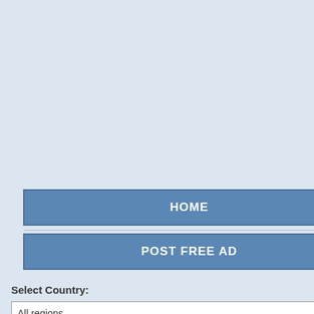Home / Uruguay / Uruguay / Make a Post
Make a Post
Uruguay » Uruguay » Miscellaneous (Ch...
Please select a subcategory to post to
Everything Else
Downloads
HOME
POST FREE AD
Select Country:
All regions
Select a city:
Phoenix
Los Angeles
Sacramento
San Diego
Denver
Washington
Miami
San Jose
Atlanta
Detroit
Minneapolis
Kansas City
St Louis
Las Vegas
New York City
Cleveland
Philadelphia
Nashville